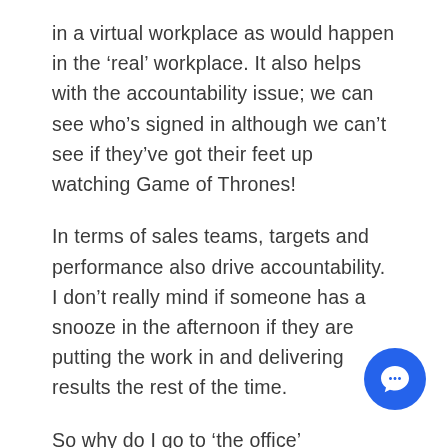in a virtual workplace as would happen in the 'real' workplace. It also helps with the accountability issue; we can see who's signed in although we can't see if they've got their feet up watching Game of Thrones!
In terms of sales teams, targets and performance also drive accountability. I don't really mind if someone has a snooze in the afternoon if they are putting the work in and delivering results the rest of the time.
So why do I go to 'the office' everyday? Part of the reason is that I'm not just doing sa… We're continually innovating our product,